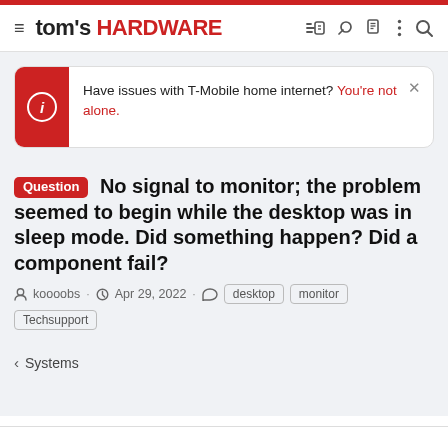tom's HARDWARE
Have issues with T-Mobile home internet? You're not alone.
Question No signal to monitor; the problem seemed to begin while the desktop was in sleep mode. Did something happen? Did a component fail?
koooobs · Apr 29, 2022 · desktop monitor Techsupport
< Systems